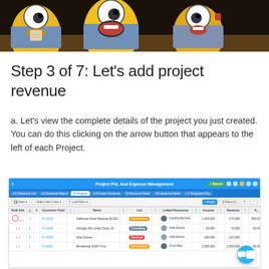[Figure (photo): Three animated minion characters from the Despicable Me franchise, laughing and celebrating, wearing blue overalls, set against a dark background.]
Step 3 of 7: Let's add project revenue
a. Let's view the complete details of the project you just created. You can do this clicking on the arrow button that appears to the left of each Project.
[Figure (screenshot): Screenshot of a Project PnL And Expense Management application showing a list of projects including FY-2023 entries with details such as project names (California Store Riparian ECES, Chicago Mix Jones Store 15, Vela Games, Residential $100 Trust), statuses (Construction, Consulting, Electrical, Construction), project managers (Camilla Bennett, Julia Evans, Julia Evans, Chris Ray), and financial columns showing budget amounts like 1,500,000; 175,000; 500,000; and others. A red circle highlights the arrow button on the first row.]